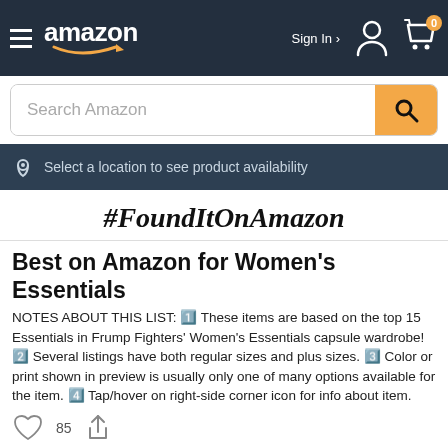amazon  Sign In  0 (cart)
Search Amazon
Select a location to see product availability
#FoundItOnAmazon
Best on Amazon for Women's Essentials
NOTES ABOUT THIS LIST: 1️⃣ These items are based on the top 15 Essentials in Frump Fighters' Women's Essentials capsule wardrobe! 2️⃣ Several listings have both regular sizes and plus sizes. 3️⃣ Color or print shown in preview is usually only one of many options available for the item. 4️⃣ Tap/hover on right-side corner icon for info about item.
85 (likes and share)